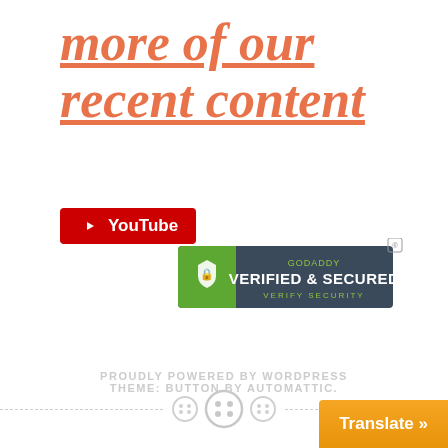more of our recent content
[Figure (logo): YouTube subscribe button logo]
[Figure (logo): GoDaddy Verified & Secured badge]
[Figure (illustration): Decorative divider with button/sewing icons]
PROUDLY POWERED BY WORDPRESS
THEME: BUTTON BY AUTOMATTIC.
[Figure (other): Translate button]